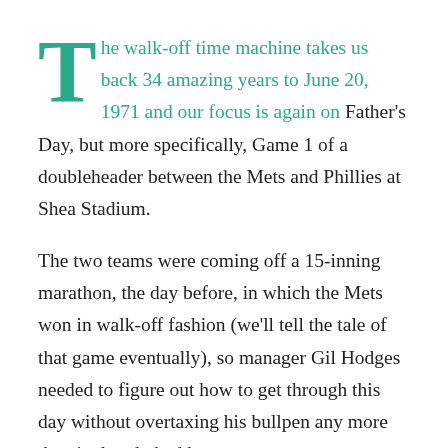The walk-off time machine takes us back 34 amazing years to June 20, 1971 and our focus is again on Father's Day, but more specifically, Game 1 of a doubleheader between the Mets and Phillies at Shea Stadium.
The two teams were coming off a 15-inning marathon, the day before, in which the Mets won in walk-off fashion (we'll tell the tale of that game eventually), so manager Gil Hodges needed to figure out how to get through this day without overtaxing his bullpen any more than it already had been.
The problem for Hodges was that he had his most inconsistent pitcher on the mound, a flamethrower from